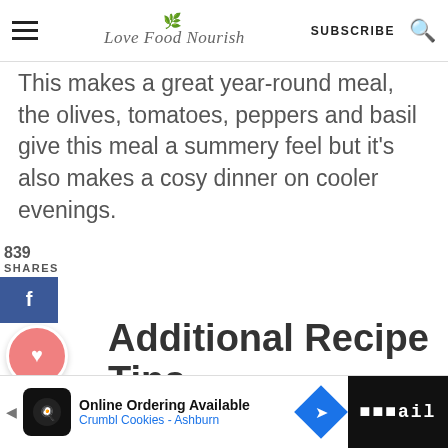Love Food Nourish | SUBSCRIBE
This makes a great year-round meal, the olives, tomatoes, peppers and basil give this meal a summery feel but it's also makes a cosy dinner on cooler evenings.
Additional Recipe Tips
can make Spanish chicken stew as mild or spicy as you like.....so play
[Figure (screenshot): Social share sidebar with Facebook, heart/save, Twitter, and share buttons showing 839 shares and 883 count]
[Figure (screenshot): What's Next promo box showing Chicken with Cannellini... with thumbnail image]
[Figure (screenshot): Advertisement bar at bottom: Online Ordering Available - Crumbl Cookies - Ashburn]